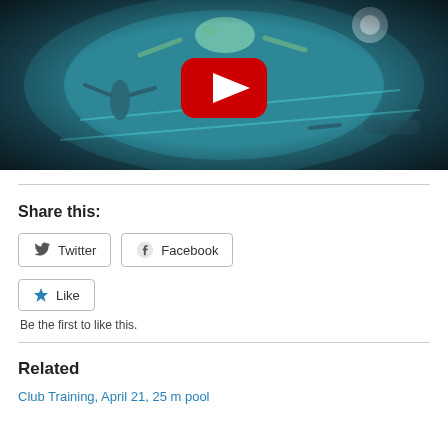[Figure (screenshot): YouTube video thumbnail showing underwater pool scene with scuba divers, dark vignette edges, teal water color, and a red YouTube play button overlay in the center.]
Share this:
Twitter  Facebook
Like
Be the first to like this.
Related
Club Training, April 21, 25 m pool